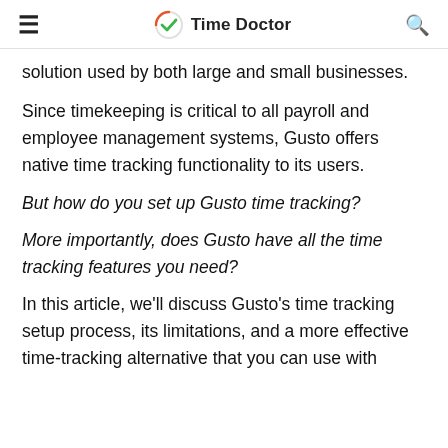Time Doctor
solution used by both large and small businesses.
Since timekeeping is critical to all payroll and employee management systems, Gusto offers native time tracking functionality to its users.
But how do you set up Gusto time tracking?
More importantly, does Gusto have all the time tracking features you need?
In this article, we'll discuss Gusto's time tracking setup process, its limitations, and a more effective time-tracking alternative that you can use with